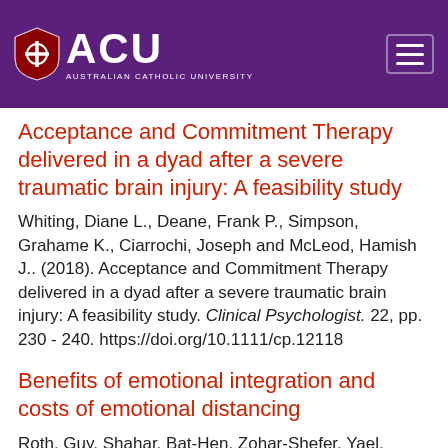[Figure (logo): Australian Catholic University (ACU) logo with shield icon and text on purple background header with hamburger menu icon]
Acceptance and Commitment Therapy delivered in a dyad after a severe traumatic brain injury: A feasibility study
Whiting, Diane L., Deane, Frank P., Simpson, Grahame K., Ciarrochi, Joseph and McLeod, Hamish J.. (2018). Acceptance and Commitment Therapy delivered in a dyad after a severe traumatic brain injury: A feasibility study. Clinical Psychologist. 22, pp. 230 - 240. https://doi.org/10.1111/cp.12118
Benefits of emotional integration and costs of emotional distancing
Roth, Guy, Shahar, Bat-Hen, Zohar-Shefer, Yael, Benita, Moti, Moed, Anat, Bibi, Uri, Kanat-Maymon,